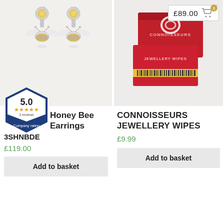£89.00 [cart: 1 item]
[Figure (photo): Two silver honey bee drop earrings with yellow gemstone tops and rose gold striped bee bodies, shown on a white/cream background with soft reflection.]
[Figure (other): Trustpilot-style company rating badge: hexagonal shape, 5.0 rating, 5 gold stars, 3 reviews, 'Company rating' label, blue and white design.]
Honey Bee Earrings 3SHNBDE
£119.00
Add to basket
[Figure (photo): Red box of Connoisseurs Jewellery Wipes, box open showing yellow packet of wipes inside, on a light background.]
CONNOISSEURS JEWELLERY WIPES
£9.99
Add to basket